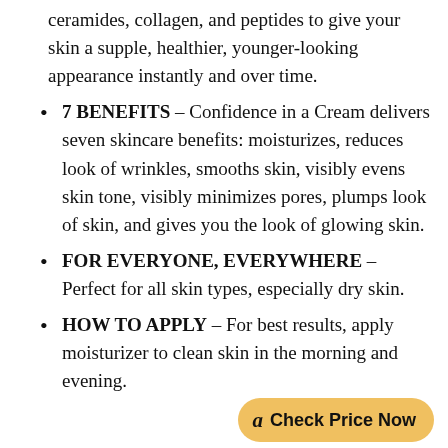ceramides, collagen, and peptides to give your skin a supple, healthier, younger-looking appearance instantly and over time.
7 BENEFITS – Confidence in a Cream delivers seven skincare benefits: moisturizes, reduces look of wrinkles, smooths skin, visibly evens skin tone, visibly minimizes pores, plumps look of skin, and gives you the look of glowing skin.
FOR EVERYONE, EVERYWHERE – Perfect for all skin types, especially dry skin.
HOW TO APPLY – For best results, apply moisturizer to clean skin in the morning and evening.
Check Price Now